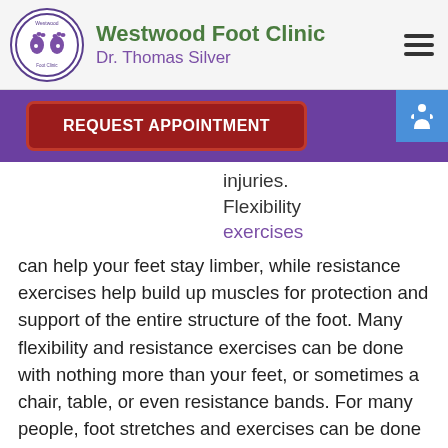Westwood Foot Clinic — Dr. Thomas Silver
[Figure (logo): Westwood Foot Clinic circular logo with purple footprints and smiley faces]
injuries. Flexibility exercises can help your feet stay limber, while resistance exercises help build up muscles for protection and support of the entire structure of the foot. Many flexibility and resistance exercises can be done with nothing more than your feet, or sometimes a chair, table, or even resistance bands. For many people, foot stretches and exercises can be done every day while at work or at home—but you should always consult with a podiatrist before beginning any exercise routine, especially if you have diabetes, arthritis, cardiovascular problems or foot disorders.